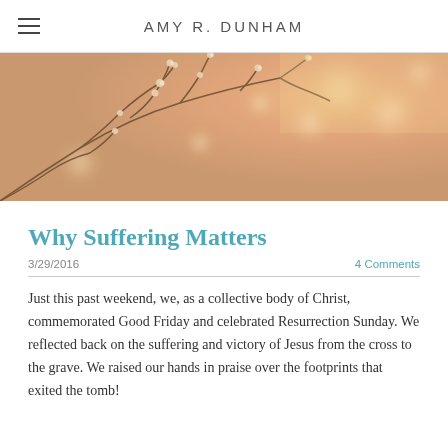AMY R. DUNHAM
[Figure (photo): Soft-focus photo of bare winter branches with small buds against a warm golden/peach bokeh background]
Why Suffering Matters
3/29/2016    4 Comments
Just this past weekend, we, as a collective body of Christ, commemorated Good Friday and celebrated Resurrection Sunday. We reflected back on the suffering and victory of Jesus from the cross to the grave. We raised our hands in praise over the footprints that exited the tomb!